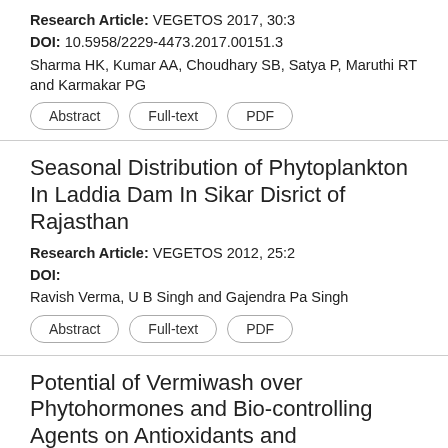Research Article: VEGETOS 2017, 30:3
DOI: 10.5958/2229-4473.2017.00151.3
Sharma HK, Kumar AA, Choudhary SB, Satya P, Maruthi RT and Karmakar PG
Abstract | Full-text | PDF
Seasonal Distribution of Phytoplankton In Laddia Dam In Sikar Disrict of Rajasthan
Research Article: VEGETOS 2012, 25:2
DOI:
Ravish Verma, U B Singh and Gajendra Pa Singh
Abstract | Full-text | PDF
Potential of Vermiwash over Phytohormones and Bio-controlling Agents on Antioxidants and Germination Enzymes in Open Pollinated and Hybrid Variety of Okra (Abelmoschus esculentus L.)
Research Article: VEGETOS 2017, 30:3
DOI: 10.5958/2229-4473.2017.00152.5